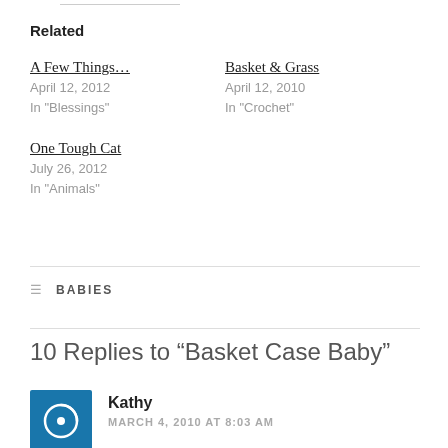Related
A Few Things…
April 12, 2012
In "Blessings"
Basket & Grass
April 12, 2010
In "Crochet"
One Tough Cat
July 26, 2012
In "Animals"
BABIES
10 Replies to “Basket Case Baby”
Kathy
MARCH 4, 2010 AT 8:03 AM